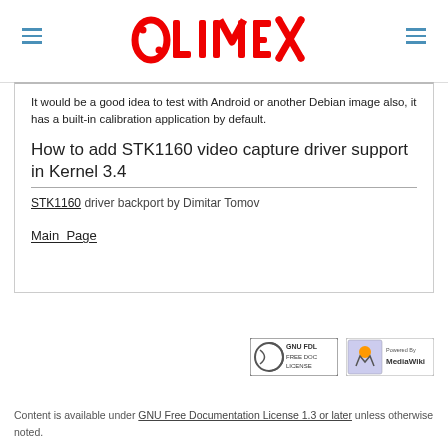[Figure (logo): Olimex logo in red stylized text with circuit-board dot accents]
It would be a good idea to test with Android or another Debian image also, it has a built-in calibration application by default.
How to add STK1160 video capture driver support in Kernel 3.4
STK1160 driver backport by Dimitar Tomov
Main_Page
[Figure (logo): GNU FDL Free Doc License badge]
[Figure (logo): Powered by MediaWiki badge]
Content is available under GNU Free Documentation License 1.3 or later unless otherwise noted.